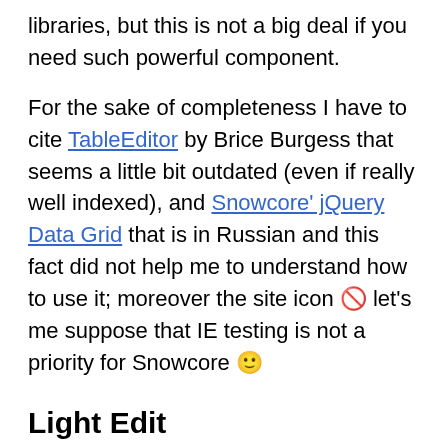libraries, but this is not a big deal if you need such powerful component.
For the sake of completeness I have to cite TableEditor by Brice Burgess that seems a little bit outdated (even if really well indexed), and Snowcore' jQuery Data Grid that is in Russian and this fact did not help me to understand how to use it; moreover the site icon 🚫 let's me suppose that IE testing is not a priority for Snowcore 🙂
Light Edit
This category, as before stated,  is mainly